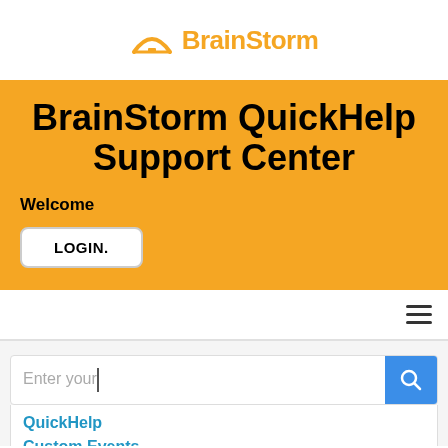[Figure (logo): BrainStorm logo with tent/arch icon in orange and bold orange BrainStorm text]
BrainStorm QuickHelp Support Center
Welcome
LOGIN.
[Figure (screenshot): Navigation bar with hamburger menu icon on the right]
[Figure (screenshot): Search bar with text 'Enter your' and a blue search button, with a dropdown showing 'QuickHelp' and 'Custom Events' in teal]